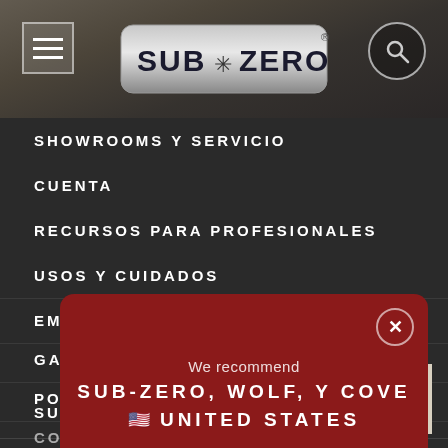[Figure (screenshot): Sub-Zero website header banner with blurred kitchen background, hamburger menu icon on left, Sub-Zero logo in center, search icon on right]
SHOWROOMS Y SERVICIO
CUENTA
RECURSOS PARA PROFESIONALES
USOS Y CUIDADOS
EMPRESA
GARANTÍA
POLÍTICA DE PRIVACIDAD
CONDICIONES
[Figure (screenshot): Red popup modal with close button (X in circle), text 'We recommend' followed by 'SUB-ZERO, WOLF, Y COVE' and US flag emoji with 'UNITED STATES']
SUB-
[Figure (other): Back to top arrow button, light beige background with upward chevron arrow]